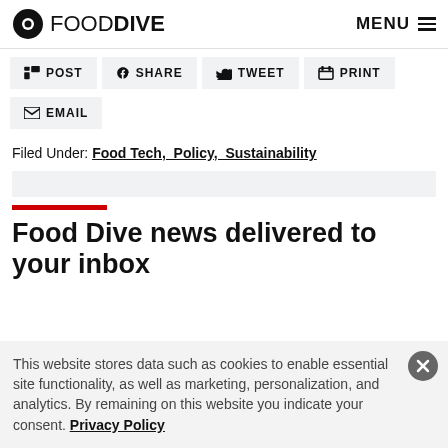FOOD DIVE | MENU
in POST
f SHARE
TWEET
PRINT
EMAIL
Filed Under: Food Tech, Policy, Sustainability
Food Dive news delivered to your inbox
This website stores data such as cookies to enable essential site functionality, as well as marketing, personalization, and analytics. By remaining on this website you indicate your consent. Privacy Policy